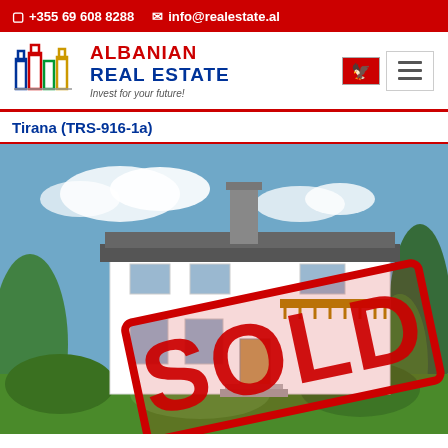☎ +355 69 608 8288  ✉ info@realestate.al
[Figure (logo): Albanian Real Estate logo with building silhouettes in blue, red, green, and yellow. Text reads ALBANIAN REAL ESTATE, Invest for your future!]
Tirana (TRS-916-1a)
[Figure (photo): Exterior photo of a modern white two-story villa with flat roof elements, chimney, wooden balcony railings, surrounded by green trees and bushes. A large red diagonal SOLD stamp overlay is visible across the center of the image.]